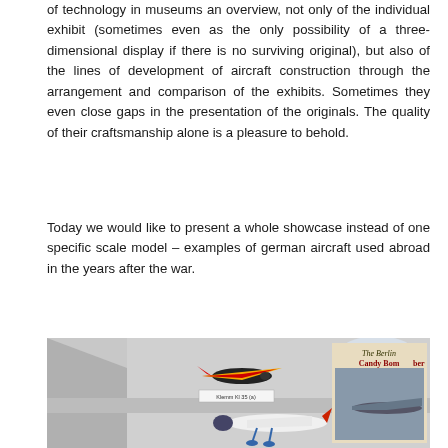of technology in museums an overview, not only of the individual exhibit (sometimes even as the only possibility of a three-dimensional display if there is no surviving original), but also of the lines of development of aircraft construction through the arrangement and comparison of the exhibits. Sometimes they even close gaps in the presentation of the originals. The quality of their craftsmanship alone is a pleasure to behold.
Today we would like to present a whole showcase instead of one specific scale model – examples of german aircraft used abroad in the years after the war.
[Figure (photo): A museum display case showing scale models of German aircraft. A colorful yellow and orange Klemm Kl 35 model airplane is prominently displayed at the top center, with a label reading 'Klemm Kl 35 (a)'. Below it is a white and blue scale model aircraft. To the right is a book or poster titled 'The Berlin Candy Bomber' showing a real aircraft photograph.]